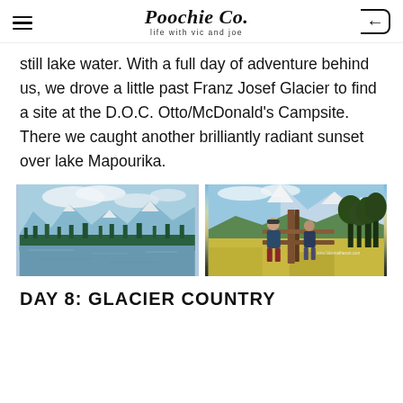Poochie Co. — life with vic and joe
still lake water. With a full day of adventure behind us, we drove a little past Franz Josef Glacier to find a site at the D.O.C. Otto/McDonald's Campsite. There we caught another brilliantly radiant sunset over lake Mapourika.
[Figure (photo): Scenic lake with mountains and forest in background under blue sky with clouds]
[Figure (photo): Two people standing at a wooden fence post with snowy mountains and green fields behind them; watermark www.lakematheson.com]
DAY 8: GLACIER COUNTRY